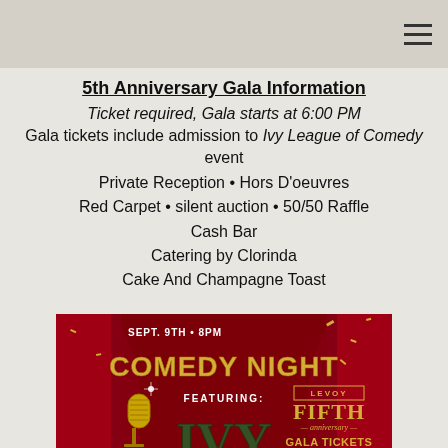5th Anniversary Gala Information
Ticket required, Gala starts at 6:00 PM
Gala tickets include admission to Ivy League of Comedy event
Private Reception • Hors D'oeuvres
Red Carpet • silent auction • 50/50 Raffle
Cash Bar
Catering by Clorinda
Cake And Champagne Toast
[Figure (illustration): Comedy Night event poster with red curtain background, gold microphone, featuring IVY Stand-Up, The Ivy League of Comedy. Text: SEPT. 9TH • 8PM, COMEDY NIGHT, FEATURING: IVY STAND-UP, THE IVY LEAGUE OF COMEDY, LEVOY FIFTH anniversary GALA TICKETS AVAILABLE!]